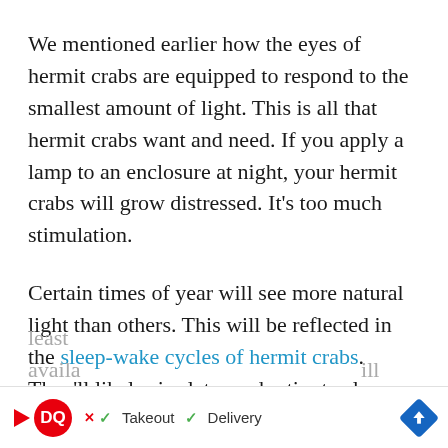We mentioned earlier how the eyes of hermit crabs are equipped to respond to the smallest amount of light. This is all that hermit crabs want and need. If you apply a lamp to an enclosure at night, your hermit crabs will grow distressed. It’s too much stimulation.
Certain times of year will see more natural light than others. This will be reflected in the sleep-wake cycles of hermit crabs. They’ll likely rise later and retire to sleep earlier. During the winter, the opposite will happen.
Attempting to work around this can lead to drastic action from hermit crabs. These animals need at least [faded] availa[faded]